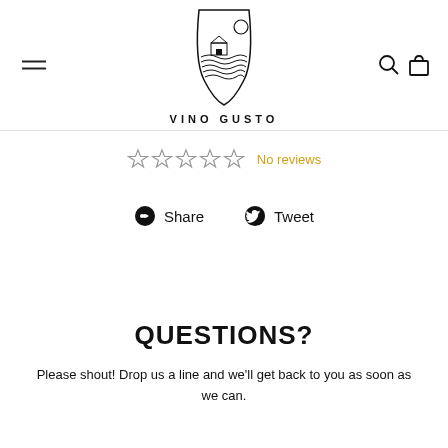[Figure (logo): Vino Gusto logo: a wine glass outline containing a vineyard scene with a barn, hills, and sun, with text VINO GUSTO below]
☆ ☆ ☆ ☆ ☆ No reviews
Share  Tweet
QUESTIONS?
Please shout! Drop us a line and we'll get back to you as soon as we can.